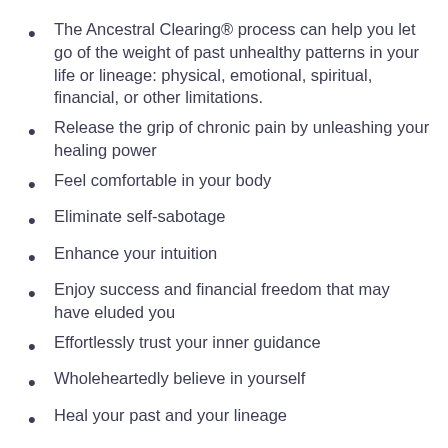The Ancestral Clearing® process can help you let go of the weight of past unhealthy patterns in your life or lineage: physical, emotional, spiritual, financial, or other limitations.
Release the grip of chronic pain by unleashing your healing power
Feel comfortable in your body
Eliminate self-sabotage
Enhance your intuition
Enjoy success and financial freedom that may have eluded you
Effortlessly trust your inner guidance
Wholeheartedly believe in yourself
Heal your past and your lineage